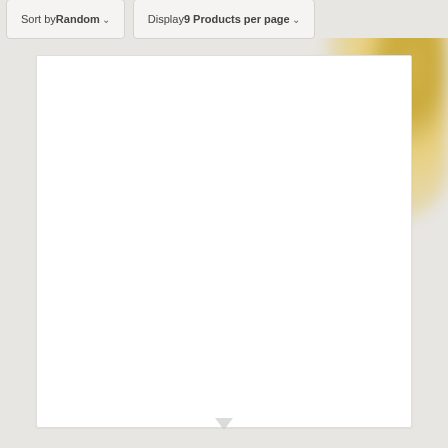Sort by Random
Display 9 Products per page
[Figure (screenshot): White product card/image area with light border, mostly blank white space. Gold blurred decorative element visible in top-right corner. Background is light gray.]